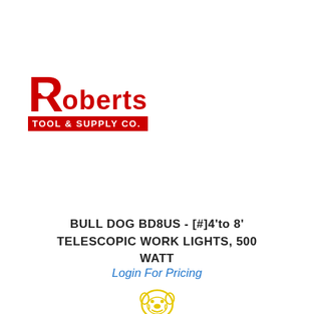[Figure (logo): Roberts Tool & Supply Co. logo — large red R followed by 'oberts' in red bold text, with 'TOOL & SUPPLY CO.' on a red background bar below]
BULL DOG BD8US - [#]4'to 8' TELESCOPIC WORK LIGHTS, 500 WATT
Login For Pricing
[Figure (logo): Bulldog brand logo — yellow bulldog head illustration above the word 'Bulldog' in yellow text]